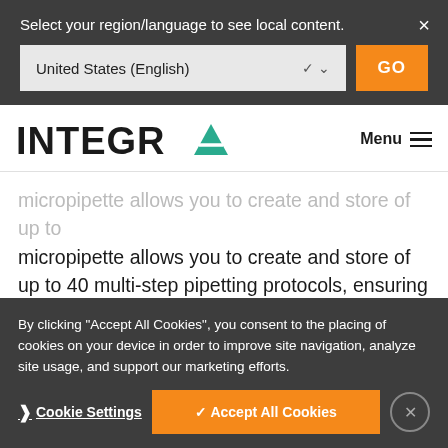Select your region/language to see local content.
United States (English)
GO
[Figure (logo): INTEGRA logo with teal triangle A]
Menu
micropipette allows you to create and store of up to 40 multi-step pipetting protocols, ensuring the same process is followed by every user for consistent performance. You can even create complete
By clicking "Accept All Cookies", you consent to the placing of cookies on your device in order to improve site navigation, analyze site usage, and support our marketing efforts.
Cookie Settings
✓ Accept All Cookies